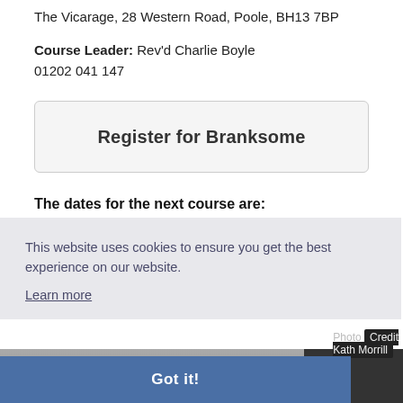The Vicarage, 28 Western Road, Poole, BH13 7BP
Course Leader: Rev'd Charlie Boyle
01202 041 147
Register for Branksome
The dates for the next course are:
The course at Poole runs based on demand. Register your interest to find out when the next course will run.
This website uses cookies to ensure you get the best experience on our website.
Learn more
Photo Credit Kath Morrill
Got it!